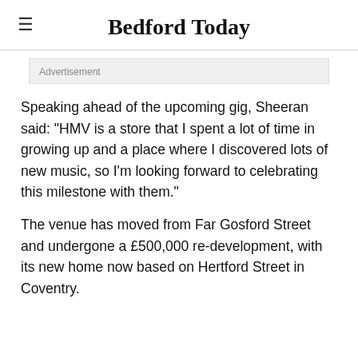Bedford Today
[Figure (other): Advertisement banner placeholder]
Speaking ahead of the upcoming gig, Sheeran said: "HMV is a store that I spent a lot of time in growing up and a place where I discovered lots of new music, so I'm looking forward to celebrating this milestone with them."
The venue has moved from Far Gosford Street and undergone a £500,000 re-development, with its new home now based on Hertford Street in Coventry.